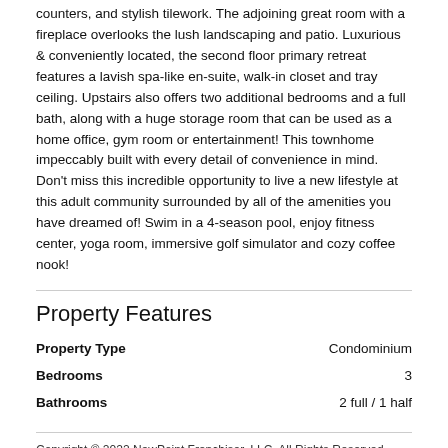counters, and stylish tilework. The adjoining great room with a fireplace overlooks the lush landscaping and patio. Luxurious & conveniently located, the second floor primary retreat features a lavish spa-like en-suite, walk-in closet and tray ceiling. Upstairs also offers two additional bedrooms and a full bath, along with a huge storage room that can be used as a home office, gym room or entertainment! This townhome impeccably built with every detail of convenience in mind. Don't miss this incredible opportunity to live a new lifestyle at this adult community surrounded by all of the amenities you have dreamed of! Swim in a 4-season pool, enjoy fitness center, yoga room, immersive golf simulator and cozy coffee nook!
Property Features
|  |  |
| --- | --- |
| Property Type | Condominium |
| Bedrooms | 3 |
| Bathrooms | 2 full / 1 half |
Copyright © 2022 NewPoint Franchisor, LLC. All Rights Reserved. Information deemed reliable but not guaranteed. All measurements are app